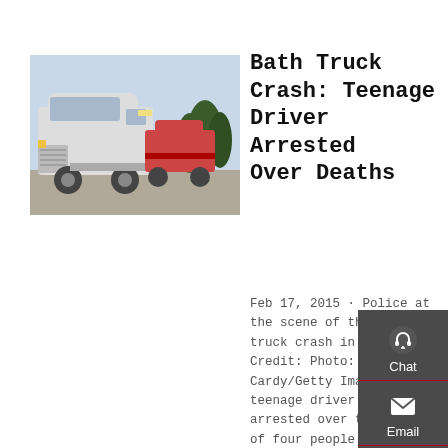[Figure (photo): White semi-truck / tractor unit parked in a lot with trees in the background]
Bath Truck Crash: Teenage Driver Arrested Over Deaths
Feb 17, 2015 · Police at the scene of the tipper truck crash in Bath. Credit: Photo: Matt Cardy/Getty Images. A teenage driver has been arrested over the deaths of four people who were struck by a 32-tonne tipper